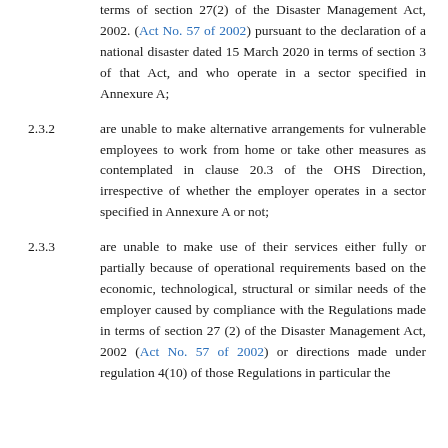terms of section 27(2) of the Disaster Management Act, 2002. (Act No. 57 of 2002) pursuant to the declaration of a national disaster dated 15 March 2020 in terms of section 3 of that Act, and who operate in a sector specified in Annexure A;
2.3.2  are unable to make alternative arrangements for vulnerable employees to work from home or take other measures as contemplated in clause 20.3 of the OHS Direction, irrespective of whether the employer operates in a sector specified in Annexure A or not;
2.3.3  are unable to make use of their services either fully or partially because of operational requirements based on the economic, technological, structural or similar needs of the employer caused by compliance with the Regulations made in terms of section 27 (2) of the Disaster Management Act, 2002 (Act No. 57 of 2002) or directions made under regulation 4(10) of those Regulations in particular the